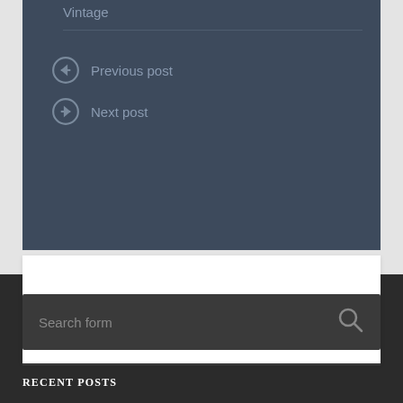Vintage
Previous post
Next post
COMMENTS ARE CLOSED.
Search form
RECENT POSTS